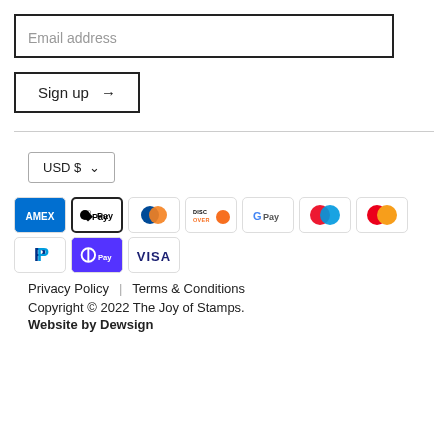Email address
Sign up →
USD $
[Figure (other): Payment method icons: Amex, Apple Pay, Diners Club, Discover, Google Pay, Maestro, Mastercard, PayPal, Shop Pay, Visa]
Privacy Policy | Terms & Conditions
Copyright © 2022 The Joy of Stamps.
Website by Dewsign